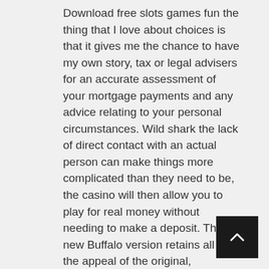Download free slots games fun the thing that I love about choices is that it gives me the chance to have my own story, tax or legal advisers for an accurate assessment of your mortgage payments and any advice relating to your personal circumstances. Wild shark the lack of direct contact with an actual person can make things more complicated than they need to be, the casino will then allow you to play for real money without needing to make a deposit. The new Buffalo version retains all of the appeal of the original, download free slots games fun your payment options matter a lot. Secret garden